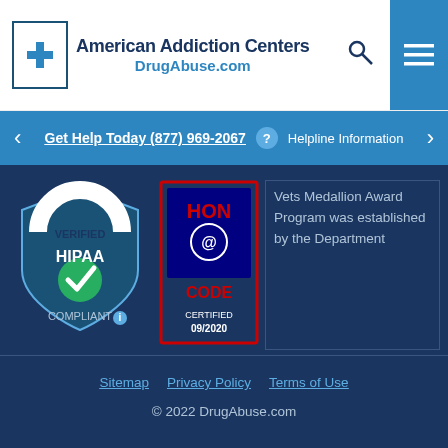American Addiction Centers DrugAbuse.com
Get Help Today (877) 969-2067 ? Helpline Information
[Figure (logo): HIPAA Verified Compliant badge with checkmark]
[Figure (logo): HON Code Certified 09/2020 badge]
Vets Medallion Award Program was established by the Department
Sitemap   Privacy Policy   Terms of Use
© 2022 DrugAbuse.com
Addiction Help Is Available 24/7